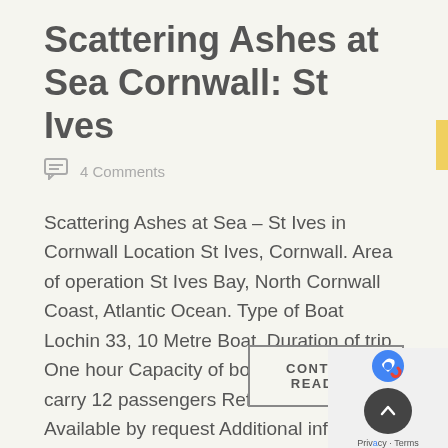Scattering Ashes at Sea Cornwall: St Ives
4 Comments
Scattering Ashes at Sea – St Ives in Cornwall Location St Ives, Cornwall. Area of operation St Ives Bay, North Cornwall Coast, Atlantic Ocean. Type of Boat Lochin 33, 10 Metre Boat. Duration of trip One hour Capacity of boat Licensed to carry 12 passengers Refreshments Available by request Additional info  St Ives Bay is […]
CONTINUE READING
[Figure (logo): reCAPTCHA widget with scroll-to-top button, Privacy and Terms text]